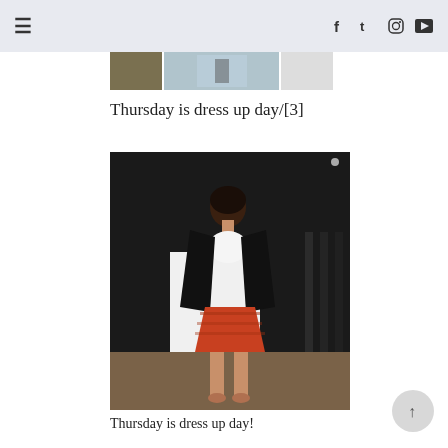☰  f  t  Instagram  YouTube
[Figure (photo): Thumbnail strip showing three small preview images]
Thursday is dress up day/[3]
[Figure (photo): Full-length photo of a woman wearing a black blazer over a white top and a red/orange patterned skirt, standing in a doorway]
Thursday is dress up day!